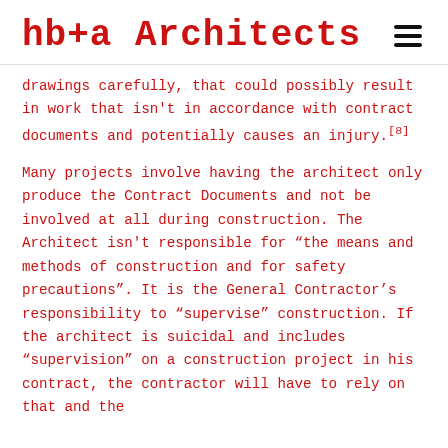hb+a Architects
drawings carefully, that could possibly result in work that isn't in accordance with contract documents and potentially causes an injury.[8]
Many projects involve having the architect only produce the Contract Documents and not be involved at all during construction. The Architect isn't responsible for “the means and methods of construction and for safety precautions”. It is the General Contractor’s responsibility to “supervise” construction. If the architect is suicidal and includes “supervision” on a construction project in his contract, the contractor will have to rely on that and the